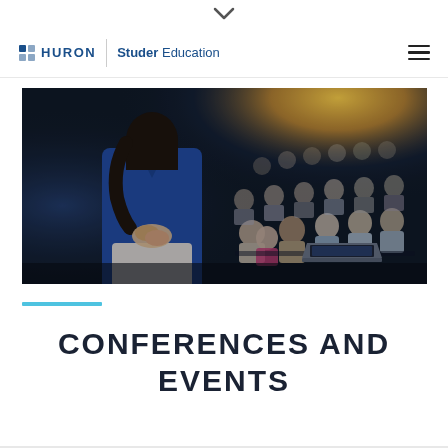↓
HURON | Studer Education
[Figure (photo): A presenter in a blue blazer stands with back to camera, facing a seated audience in a darkened auditorium with warm spotlight lighting and a laptop visible on a podium.]
CONFERENCES AND EVENTS